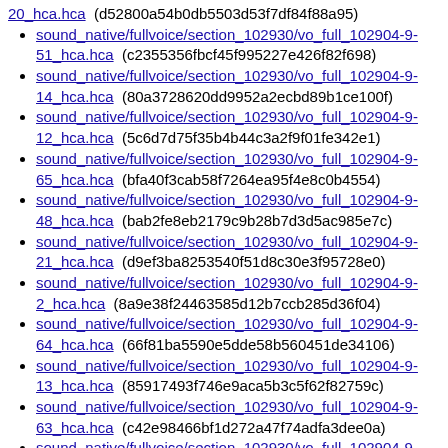20_hca.hca (d52800a54b0db5503d53f7df84f88a95)
sound_native/fullvoice/section_102930/vo_full_102904-9-51_hca.hca (c2355356fbcf45f995227e426f82f698)
sound_native/fullvoice/section_102930/vo_full_102904-9-14_hca.hca (80a3728620dd9952a2ecbd89b1ce100f)
sound_native/fullvoice/section_102930/vo_full_102904-9-12_hca.hca (5c6d7d75f35b4b44c3a2f9f01fe342e1)
sound_native/fullvoice/section_102930/vo_full_102904-9-65_hca.hca (bfa40f3cab58f7264ea95f4e8c0b4554)
sound_native/fullvoice/section_102930/vo_full_102904-9-48_hca.hca (bab2fe8eb2179c9b28b7d3d5ac985e7c)
sound_native/fullvoice/section_102930/vo_full_102904-9-21_hca.hca (d9ef3ba8253540f51d8c30e3f95728e0)
sound_native/fullvoice/section_102930/vo_full_102904-9-2_hca.hca (8a9e38f24463585d12b7ccb285d36f04)
sound_native/fullvoice/section_102930/vo_full_102904-9-64_hca.hca (66f81ba5590e5dde58b560451de34106)
sound_native/fullvoice/section_102930/vo_full_102904-9-13_hca.hca (85917493f746e9aca5b3c5f62f82759c)
sound_native/fullvoice/section_102930/vo_full_102904-9-63_hca.hca (c42e98466bf1d272a47f74adfa3dee0a)
sound_native/fullvoice/section_102930/vo_full_102904-9-25_hca.hca (c62ccac4bb28d604f299b1a694ede508)
sound_native/fullvoice/section_102930/vo_full_102904-9-15_hca.hca (b91a5195daac4792868cdcc584a756d2)